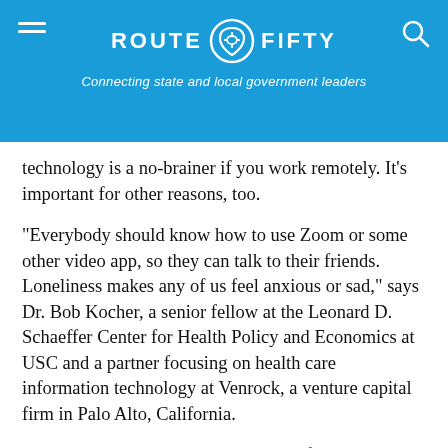ROUTE FIFTY — Connecting state and local government leaders
technology is a no-brainer if you work remotely. It's important for other reasons, too.
“Everybody should know how to use Zoom or some other video app, so they can talk to their friends. Loneliness makes any of us feel anxious or sad,” says Dr. Bob Kocher, a senior fellow at the Leonard D. Schaeffer Center for Health Policy and Economics at USC and a partner focusing on health care information technology at Venrock, a venture capital firm in Palo Alto, California.
Such technology also comes in handy for conversations with your doctor. (If you don’t have